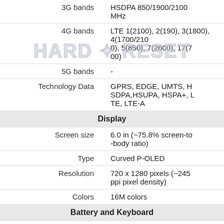| Property | Value |
| --- | --- |
| 3G bands | HSDPA 850/1900/2100 MHz |
| 4G bands | LTE 1(2100), 2(1900), 3(1800), 4(1700/2100), 5(850), 7(2600), 17(700) |
| 5G bands | - |
| Technology Data | GPRS, EDGE, UMTS, HSDPA,HSUPA, HSPA+, LTE, LTE-A |
| Display |  |
| Screen size | 6.0 in (~75.8% screen-to-body ratio) |
| Type | Curved P-OLED |
| Resolution | 720 x 1280 pixels (~245 ppi pixel density) |
| Colors | 16M colors |
| Battery and Keyboard |  |
| Battery | Non-Removable Li-Po 3500 mAh |